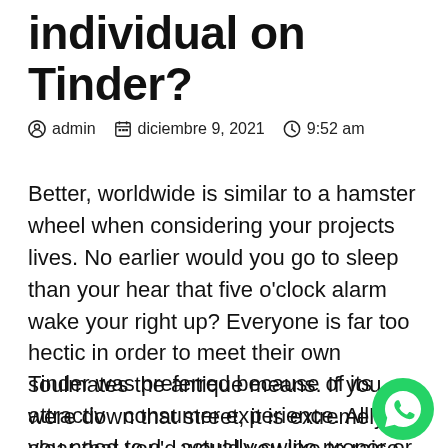individual on Tinder?
admin   diciembre 9, 2021   9:52 am
Better, worldwide is similar to a hamster wheel when considering your projects lives. No earlier would you go to sleep than your hear that five o'clock alarm wake your right up? Everyone is far too hectic in order to meet their own soulmates the antique means. If you were down that street, it is extremely clear that you'd would you like to raise your success rate relating to online dating.
Tinder was preferred because of its attractive consumer experience. All that you need to do actually swipe proper or kept to have or give